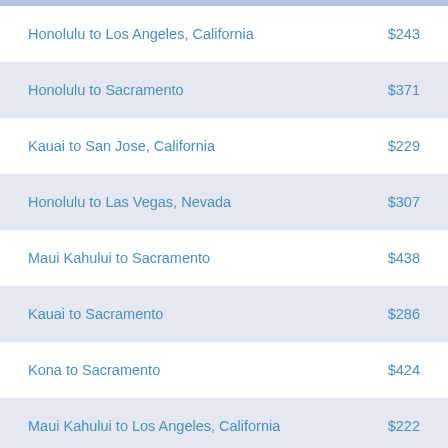| Route | Price |
| --- | --- |
| Honolulu to Los Angeles, California | $243 |
| Honolulu to Sacramento | $371 |
| Kauai to San Jose, California | $229 |
| Honolulu to Las Vegas, Nevada | $307 |
| Maui Kahului to Sacramento | $438 |
| Kauai to Sacramento | $286 |
| Kona to Sacramento | $424 |
| Maui Kahului to Los Angeles, California | $222 |